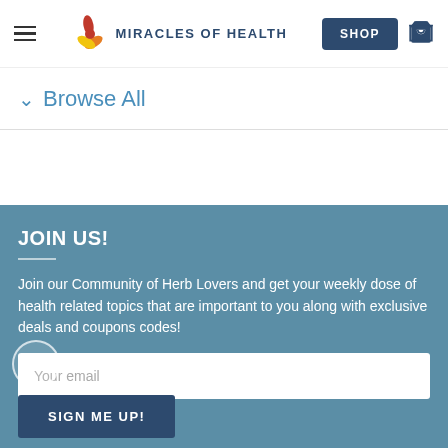MIRACLES OF HEALTH — navigation header with hamburger menu, logo, SHOP button, and cart icon
Browse All
JOIN US!
Join our Community of Herb Lovers and get your weekly dose of health related topics that are important to you along with exclusive deals and coupons codes!
Your email
SIGN ME UP!